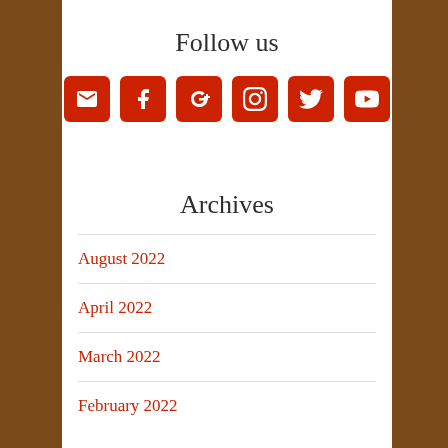Follow us
[Figure (infographic): Row of six red rounded square social media icons: email/envelope, Facebook (f), Google+ (G+), Instagram (camera), Twitter (bird), YouTube (play button)]
Archives
August 2022
April 2022
March 2022
February 2022